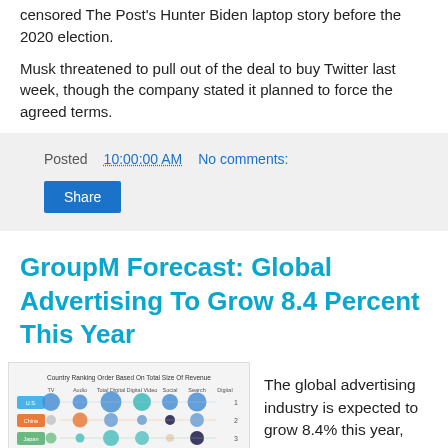censored The Post's Hunter Biden laptop story before the 2020 election.
Musk threatened to pull out of the deal to buy Twitter last week, though the company stated it planned to force the agreed terms.
Posted 10:00:00 AM   No comments:
Share
GroupM Forecast: Global Advertising To Grow 8.4 Percent This Year
[Figure (bubble-chart): Country Ranking Order Based On Total Size Of Revenue — bubble chart showing countries (US, China, Japan, U.K., Germany, France) ranked by advertising revenue across multiple media columns (TV, Audio, Total Digital, Digital Video, Social, Search, Digital). Circles sized by revenue, colored by country.]
The global advertising industry is expected to grow 8.4% this year,